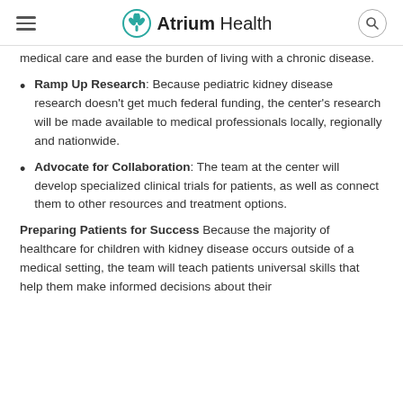Atrium Health
medical care and ease the burden of living with a chronic disease.
Ramp Up Research: Because pediatric kidney disease research doesn't get much federal funding, the center's research will be made available to medical professionals locally, regionally and nationwide.
Advocate for Collaboration: The team at the center will develop specialized clinical trials for patients, as well as connect them to other resources and treatment options.
Preparing Patients for Success Because the majority of healthcare for children with kidney disease occurs outside of a medical setting, the team will teach patients universal skills that help them make informed decisions about their health with confidence. This education will increase overall...